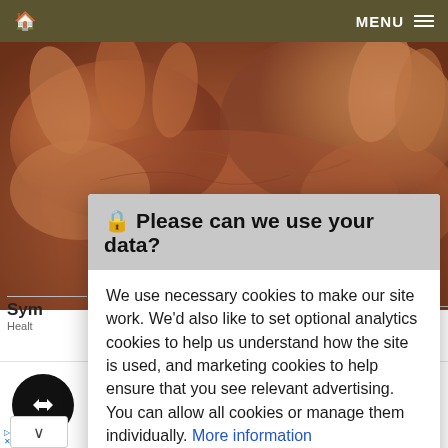🏠  MENU ≡
[Figure (photo): Close-up photograph of hands/feet with skin texture, brownish-reddish tones]
🔒 Please can we use your data?
We use necessary cookies to make our site work. We'd also like to set optional analytics cookies to help us understand how the site is used, and marketing cookies to help ensure that you see relevant advertising. You can allow all cookies or manage them individually. More information
✓ In-store shopping